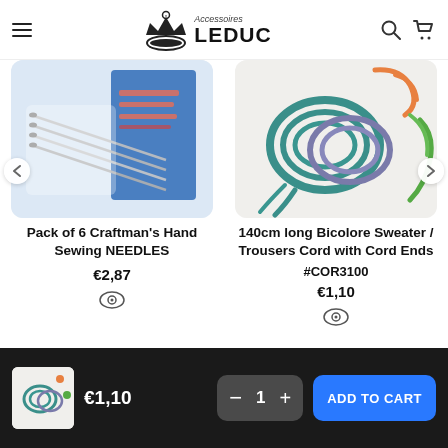Accessoires LEDUC
[Figure (photo): Pack of sewing needles in a blue cardboard packaging]
Pack of 6 Craftman's Hand Sewing NEEDLES
€2,87
[Figure (photo): Colorful cords (teal, purple, orange, green) coiled on white background]
140cm long Bicolore Sweater / Trousers Cord with Cord Ends #COR3100
€1,10
€1,10  −  1  +  ADD TO CART